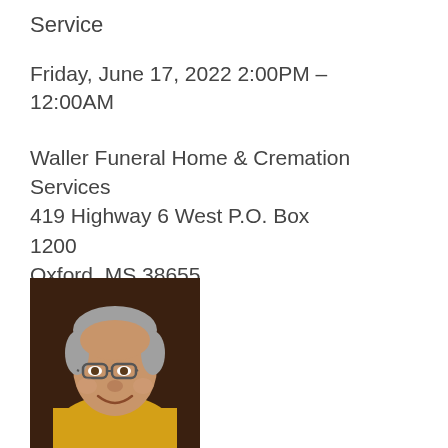Service
Friday, June 17, 2022 2:00PM – 12:00AM
Waller Funeral Home & Cremation Services
419 Highway 6 West P.O. Box 1200
Oxford, MS 38655
[Figure (photo): Portrait photo of an older man with gray hair and glasses, smiling, wearing a yellow shirt]